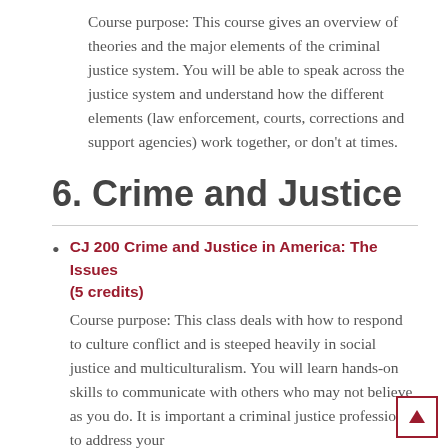Course purpose: This course gives an overview of theories and the major elements of the criminal justice system. You will be able to speak across the justice system and understand how the different elements (law enforcement, courts, corrections and support agencies) work together, or don't at times.
6. Crime and Justice
CJ 200 Crime and Justice in America: The Issues (5 credits)
Course purpose: This class deals with how to respond to culture conflict and is steeped heavily in social justice and multiculturalism. You will learn hands-on skills to communicate with others who may not believe as you do. It is important a criminal justice professional to address your